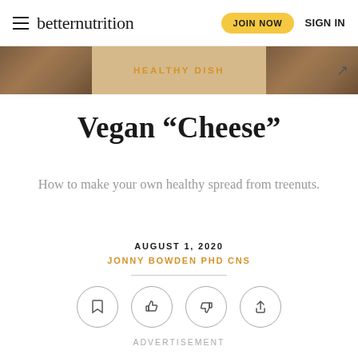betternutrition  JOIN NOW  SIGN IN
[Figure (screenshot): Website header image strip showing 'HEALTHY DISH' category label with decorative wood-texture images on left and right sides and a right arrow]
Vegan “Cheese”
How to make your own healthy spread from treenuts.
AUGUST 1, 2020
JONNY BOWDEN PHD CNS
[Figure (infographic): Row of four circular icon buttons: bookmark, thumbs up, thumbs down, share]
ADVERTISEMENT